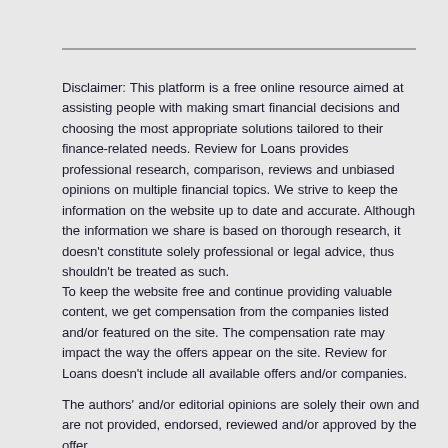Disclaimer: This platform is a free online resource aimed at assisting people with making smart financial decisions and choosing the most appropriate solutions tailored to their finance-related needs. Review for Loans provides professional research, comparison, reviews and unbiased opinions on multiple financial topics. We strive to keep the information on the website up to date and accurate. Although the information we share is based on thorough research, it doesn't constitute solely professional or legal advice, thus shouldn't be treated as such.
To keep the website free and continue providing valuable content, we get compensation from the companies listed and/or featured on the site. The compensation rate may impact the way the offers appear on the site. Review for Loans doesn't include all available offers and/or companies.
The authors' and/or editorial opinions are solely their own and are not provided, endorsed, reviewed and/or approved by the offer issuers and/or companies or any representatives from ...